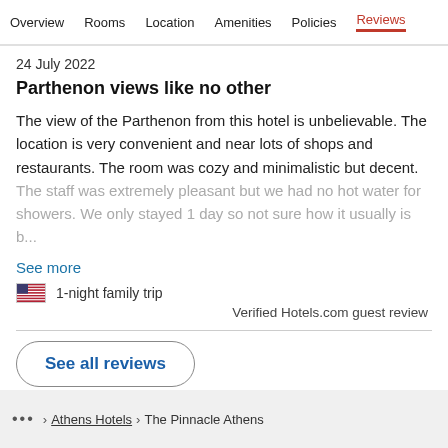Overview  Rooms  Location  Amenities  Policies  Reviews
24 July 2022
Parthenon views like no other
The view of the Parthenon from this hotel is unbelievable. The location is very convenient and near lots of shops and restaurants. The room was cozy and minimalistic but decent. The staff was extremely pleasant but we had no hot water for showers. We only stayed 1 day so not sure how it usually is b...
See more
1-night family trip
Verified Hotels.com guest review
See all reviews
... > Athens Hotels > The Pinnacle Athens